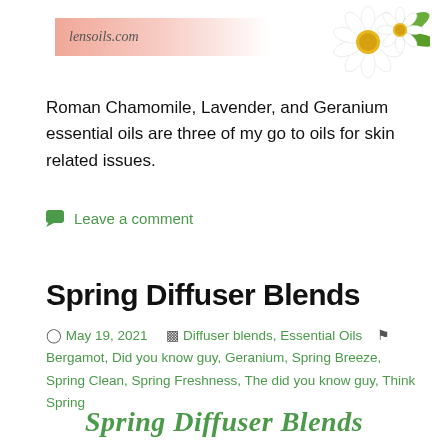lensoils.com
[Figure (photo): White daisy flowers with green leaves, partial view, top right corner]
Roman Chamomile, Lavender, and Geranium essential oils are three of my go to oils for skin related issues.
Leave a comment
Spring Diffuser Blends
May 19, 2021   Diffuser blends, Essential Oils   Bergamot, Did you know guy, Geranium, Spring Breeze, Spring Clean, Spring Freshness, The did you know guy, Think Spring
Spring Diffuser Blends